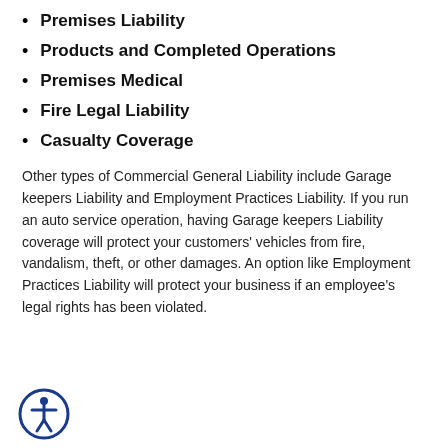Premises Liability
Products and Completed Operations
Premises Medical
Fire Legal Liability
Casualty Coverage
Other types of Commercial General Liability include Garage keepers Liability and Employment Practices Liability. If you run an auto service operation, having Garage keepers Liability coverage will protect your customers' vehicles from fire, vandalism, theft, or other damages. An option like Employment Practices Liability will protect your business if an employee's legal rights has been violated.